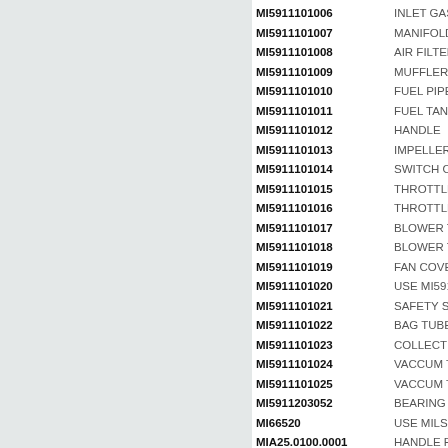| Part Number | Description |
| --- | --- |
| MI5911101006 | INLET GASK |
| MI5911101007 | MANIFOLD |
| MI5911101008 | AIR FILTER |
| MI5911101009 | MUFFLER |
| MI5911101010 | FUEL PIPE A |
| MI5911101011 | FUEL TANK |
| MI5911101012 | HANDLE |
| MI5911101013 | IMPELLER |
| MI5911101014 | SWITCH ON |
| MI5911101015 | THROTTLE |
| MI5911101016 | THROTTLE |
| MI5911101017 | BLOWER TU |
| MI5911101018 | BLOWER TU |
| MI5911101019 | FAN COVER |
| MI5911101020 | USE MI5911 |
| MI5911101021 | SAFETY SW |
| MI5911101022 | BAG TUBE |
| MI5911101023 | COLLECTIO |
| MI5911101024 | VACCUM TU |
| MI5911101025 | VACCUM TU |
| MI5911203052 | BEARING |
| MI66520 | USE MILS32 |
| MIA25.0100.0001 | HANDLE FR |
| MIA25.0100.0003 | PLATE |
| MIA25.0100.0006 | PLUG |
| MIA25.0100.0007 | COVER TOP |
| MIA25.0100.0008 | SAFETY TR |
| MIA25.0100.0009 | THROTTLE |